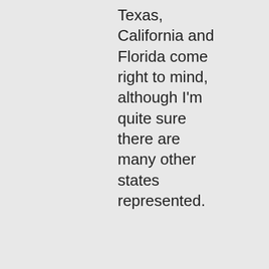Texas, California and Florida come right to mind, although I'm quite sure there are many other states represented.
★ Liked by 1 person
↳ Reply
Advertisements
[Figure (other): Advertisement banner with dark background showing 'Launch your online course with WordPress' with a Learn More button and WordPress-style icon]